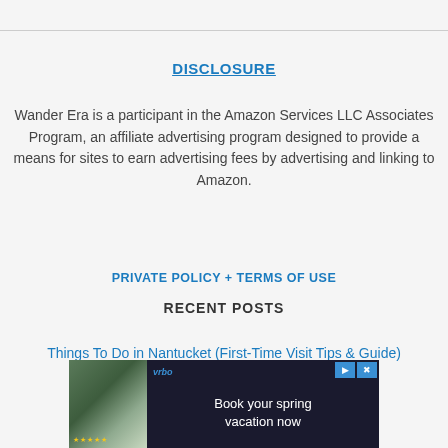DISCLOSURE
Wander Era is a participant in the Amazon Services LLC Associates Program, an affiliate advertising program designed to provide a means for sites to earn advertising fees by advertising and linking to Amazon.
PRIVATE POLICY + TERMS OF USE
RECENT POSTS
Things To Do in Nantucket (First-Time Visit Tips & Guide)
[Figure (other): Advertisement banner for Vrbo: Book your spring vacation now, with an image of a vacation property and navigation/close buttons]